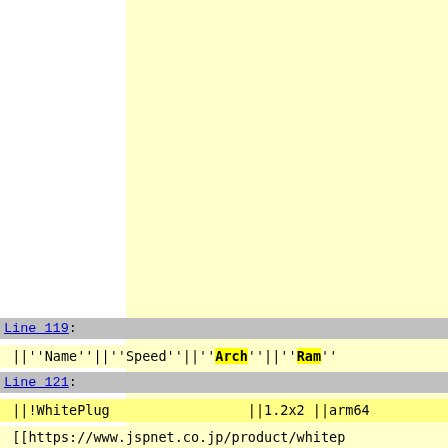Line 119:
||''Name''||''Speed''||''Arch''||''Ram''
Line 121:
||!WhitePlug                ||1.2x2 ||arm64
[[https://www.jspnet.co.jp/product/whitep
Line 129: